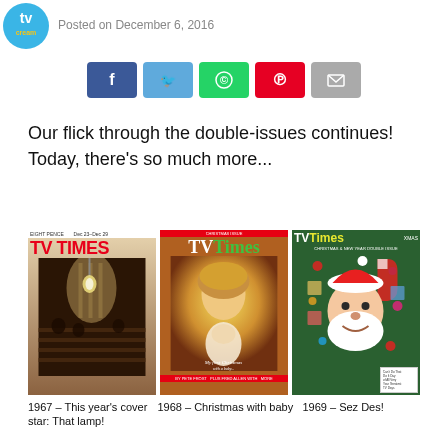[Figure (logo): TV Cream circular logo, blue background]
Posted on December 6, 2016
[Figure (infographic): Social media share buttons: Facebook (blue), Twitter (light blue), WhatsApp (green), Pinterest (red), Email (grey)]
Our flick through the double-issues continues! Today, there's so much more...
[Figure (photo): Three TV Times magazine covers side by side: 1967 church interior, 1968 woman with baby, 1969 man in Santa costume]
1967 – This year's cover star: That lamp!
1968 – Christmas with baby
1969 – Sez Des!